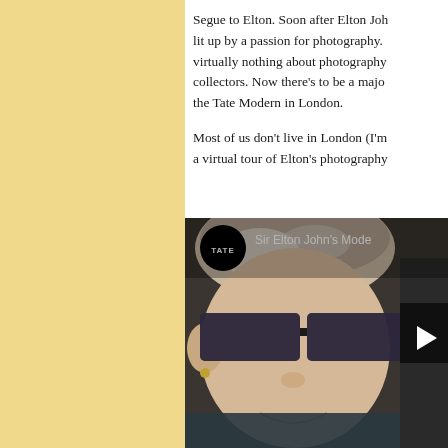Segue to Elton. Soon after Elton John lit up by a passion for photography. virtually nothing about photography collectors. Now there's to be a major the Tate Modern in London.

Most of us don't live in London (I'm a virtual tour of Elton's photography
[Figure (screenshot): Video thumbnail showing Sir Elton John's Mode with Tate logo, person wearing dark-framed glasses visible, play button on right side]